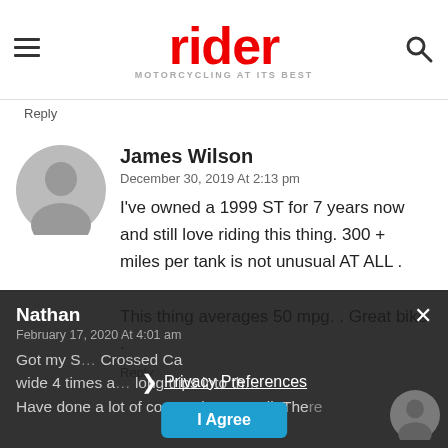rider — MOTORCYCLING AT ITS BEST
Reply
James Wilson
December 30, 2019 At 2:13 pm
I've owned a 1999 ST for 7 years now and still love riding this thing. 300 + miles per tank is not unusual AT ALL .
This thing averages 50 mpg. . Great bike .
Reply
Nathan
February 17, 2020 At 4:01 am
Got my S... Crossed Ca wide 4 times a... long trips into th... Have done a lot of commuting as well. There...
Privacy Preferences
I Agree